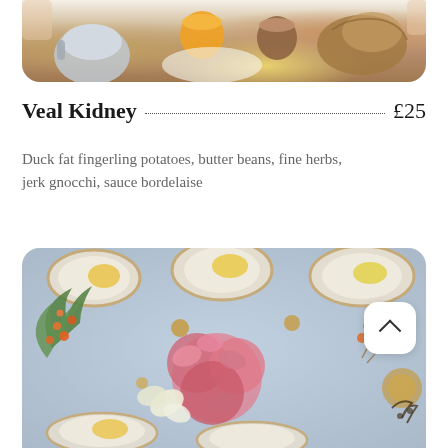[Figure (photo): Top-down view of a breakfast or brunch table with orange juice, coffee, silver teapot, and bread, cropped at top of page]
Veal Kidney £25
Duck fat fingerling potatoes, butter beans, fine herbs, jerk gnocchi, sauce bordelaise
[Figure (photo): Overhead view of an elegantly set dining table with decorative plates, pink flowers, tropical leaves, orange berries, candles, and colourful table setting]